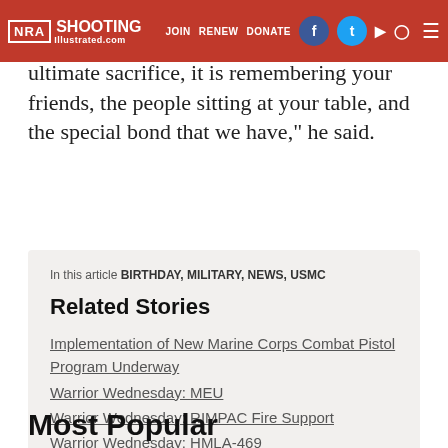NRA SHOOTING Illustrated — EXPLORE JOIN RENEW DONATE — Facebook Twitter YouTube Instagram nav
ultimate sacrifice, it is remembering your friends, the people sitting at your table, and the special bond that we have," he said.
In this article BIRTHDAY, MILITARY, NEWS, USMC
Related Stories
Implementation of New Marine Corps Combat Pistol Program Underway
Warrior Wednesday: MEU
Warrior Wednesday: RIMPAC Fire Support
Warrior Wednesday: HMLA-469
One 1911, Two Heroes
Most Popular